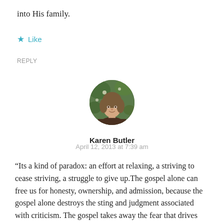into His family.
★ Like
REPLY
[Figure (photo): Circular profile photo of Karen Butler, a woman with brown hair, outdoors with green foliage in background.]
Karen Butler
April 12, 2013 at 7:39 am
“Its a kind of paradox: an effort at relaxing, a striving to cease striving, a struggle to give up.The gospel alone can free us for honesty, ownership, and admission, because the gospel alone destroys the sting and judgment associated with criticism. The gospel takes away the fear that drives defensiveness and frees us to openly admit our shortcomings. The gospel says, “in the place of your